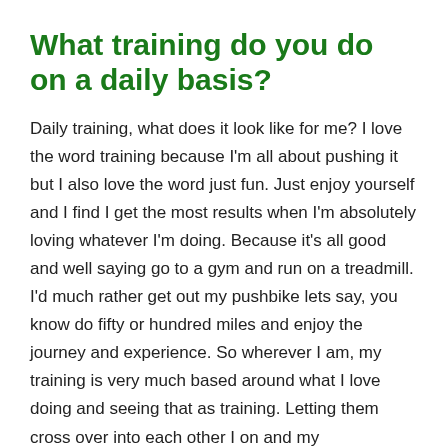What training do you do on a daily basis?
Daily training, what does it look like for me? I love the word training because I'm all about pushing it but I also love the word just fun. Just enjoy yourself and I find I get the most results when I'm absolutely loving whatever I'm doing. Because it's all good and well saying go to a gym and run on a treadmill. I'd much rather get out my pushbike lets say, you know do fifty or hundred miles and enjoy the journey and experience. So wherever I am, my training is very much based around what I love doing and seeing that as training. Letting them cross over into each other I on and my…